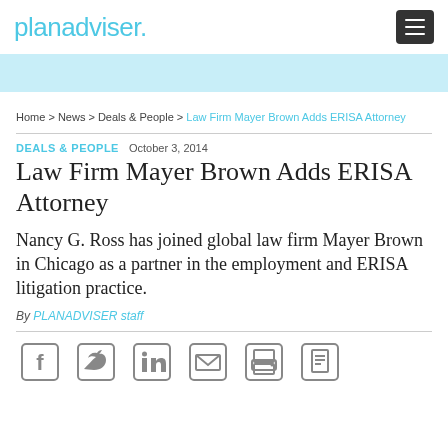planadviser.
Home > News > Deals & People > Law Firm Mayer Brown Adds ERISA Attorney
DEALS & PEOPLE   October 3, 2014
Law Firm Mayer Brown Adds ERISA Attorney
Nancy G. Ross has joined global law firm Mayer Brown in Chicago as a partner in the employment and ERISA litigation practice.
By PLANADVISER staff
[Figure (other): Social sharing icons: Facebook, Twitter, LinkedIn, Email, Print, Document]